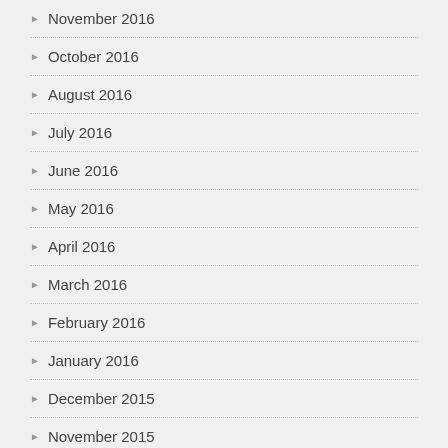November 2016
October 2016
August 2016
July 2016
June 2016
May 2016
April 2016
March 2016
February 2016
January 2016
December 2015
November 2015
September 2015